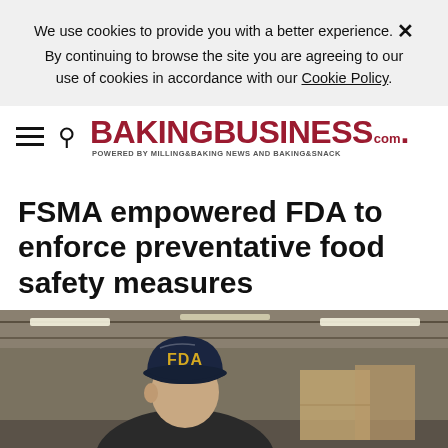We use cookies to provide you with a better experience. × By continuing to browse the site you are agreeing to our use of cookies in accordance with our Cookie Policy.
BAKING BUSINESS .com POWERED BY MILLING&BAKING NEWS AND BAKING&SNACK
FSMA empowered FDA to enforce preventative food safety measures
[Figure (photo): A person wearing a dark navy blue FDA baseball cap in a warehouse/food facility setting, viewed from behind/side angle. Industrial ceiling with fluorescent lights visible in background.]